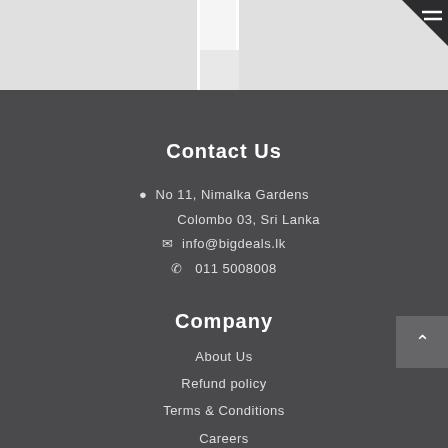[Figure (screenshot): Top strip showing partial product images with white dividers and dark hamburger menu icon in top-right corner]
Contact Us
No 11, Nimalka Gardens
Colombo 03, Sri Lanka
info@bigdeals.lk
011 5008008
Company
About Us
Refund policy
Terms & Conditions
Careers
Quick Links